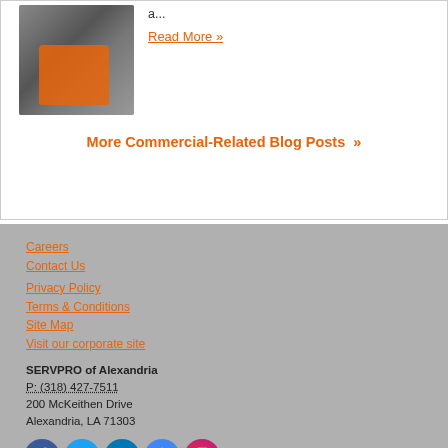[Figure (photo): A person wearing an orange vest, likely a SERVPRO technician, working near a door or wall.]
a...
Read More »
More Commercial-Related Blog Posts  »
Careers
Contact Us
Privacy Policy
Terms & Conditions
Site Map
Visit our corporate site
SERVPRO of Alexandria
P: (318) 427-7511
200 McKeithen Drive
Alexandria, LA 71303
[Figure (logo): Social media icons: Facebook, Twitter, LinkedIn, Google Maps, Instagram]
© Servpro Industries, LLC. – All services in the U.S. performed by independently owned and operated franchises of Servpro Industries, LLC.
© Servpro Industries (Canada) ULC – All services in Canada performed by independently owned and operated franchises of Servpro Industries (Canada) ULC.